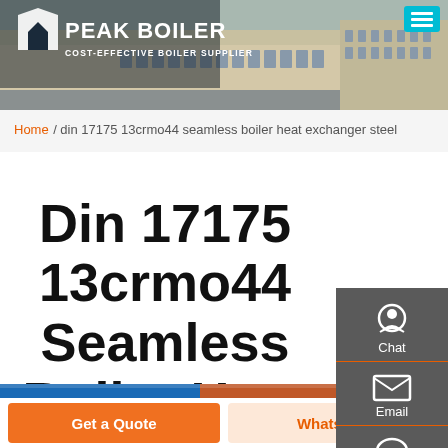[Figure (photo): Peak Boiler website header banner showing factory building in background with logo 'PEAK BOILER - COST-EFFECTIVE BOILER SUPPLIER' and teal menu button]
Home / din 17175 13crmo44 seamless boiler heat exchanger steel
Din 17175 13crmo44 Seamless Boiler Heat Exchanger Steel
[Figure (screenshot): Sidebar widget panel with Chat, Email, and Contact icons on dark grey background]
[Figure (photo): Product image strip showing boiler/heat exchanger steel pipes]
Get a Quote
WhatsApp